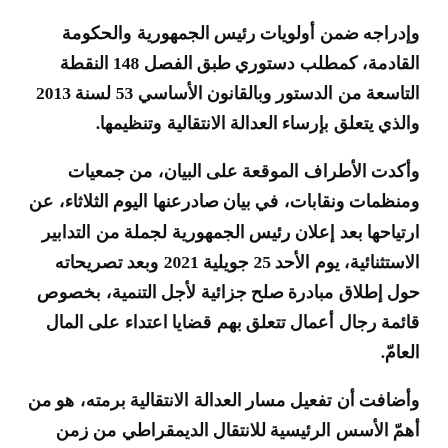وإدراجه ضمن أولويات رئيس الجمهورية والحكومة القادمة، كمطلب دستوري طبق الفصل 148 النقطة التاسعة من الدستور وبالقانون الأساسي 53 لسنة 2013 والذي يتعلق بإرساء العدالة الانتقالية وتنظيمها.
وأكدت الأطراف الموقعة على البيان، من جمعيات ومنظمات ونقابات، في بيان صادرعنها اليوم الثلاثاء، عن ارتياحها بعد إعلان رئيس الجمهورية لجملة من التدابير الاستثنائية، يوم الأحد 25 جويلية 2021 وبعد تصريحاته حول إطلاق مبادرة صلح جزائية لأجل التنمية، بخصوص قائمة رجال أعمال تتعلق بهم قضايا اعتداء على المال العام.
وأضافت أن تفعيل مسار العدالة الانتقالية برمته، هو من أهم الأسس الرئيسية للانتقال الديمقراطي من زمن الاستبداد إلى زمن الديمقراطية والحرية الإنسانية